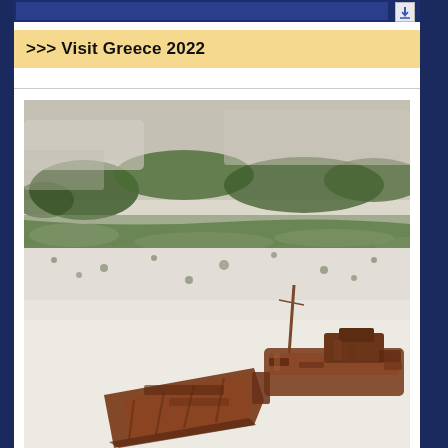>>> Visit Greece 2022
[Figure (photo): Aerial view of a rusted shipwreck (Navagio/Zakynthos shipwreck) lying on a white sandy beach, with green and white rocky cliffs in the background. The ship is heavily rusted and partially broken apart.]